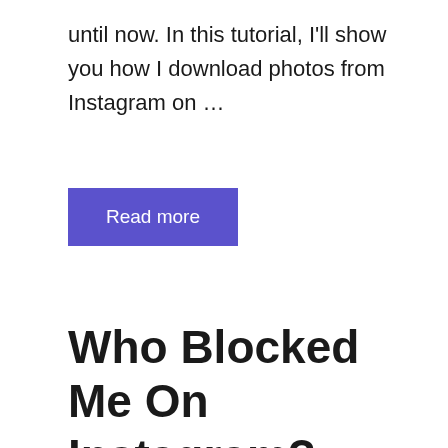until now. In this tutorial, I'll show you how I download photos from Instagram on …
Read more
Who Blocked Me On Instagram? Without Any App